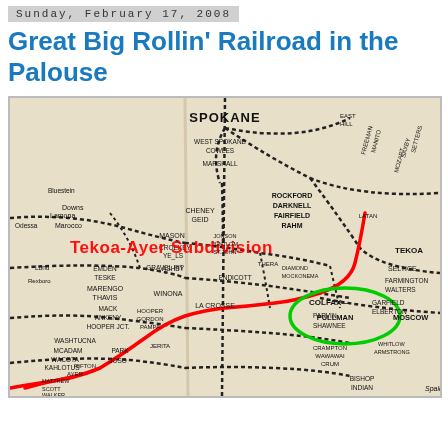Sunday, February 17, 2008
Great Big Rollin' Railroad in the Palouse
[Figure (map): Vintage railroad map of the Palouse region centered on Spokane, Washington. Shows railroad lines with dotted/beaded line style. Red lines highlight the Tekoa-Ayer Subdivision route. A green oval highlights the Pullman/Colfax area. Labels include cities: Spokane, Cheney, Geid, Marshall, Rockford, Darknell, Fairfield, Rahm, Tekoa, Seltice, Farmington, Walters, Garfield, Elberton, Colfax, Pullman, Moscow, Endicott, La Crosse, Winona, Hooper, Marengo, Thavis, Mack, Ankeny, Hooper Jct., Washtucna, McAdam, Wacota, Kahlotus, and many others.]